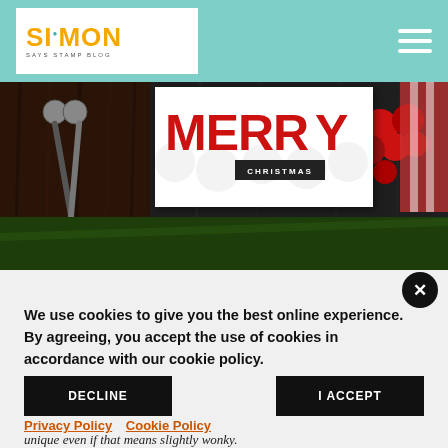Simon Says Stamp Blog
[Figure (photo): Christmas themed hero image with 'MERRY CHRISTMAS' card, scissors, pine needles, and red berries on dark wood background]
We use cookies to give you the best online experience. By agreeing, you accept the use of cookies in accordance with our cookie policy.
DECLINE | I ACCEPT
Privacy Policy  Cookie Policy
unique even if that means slightly wonky.